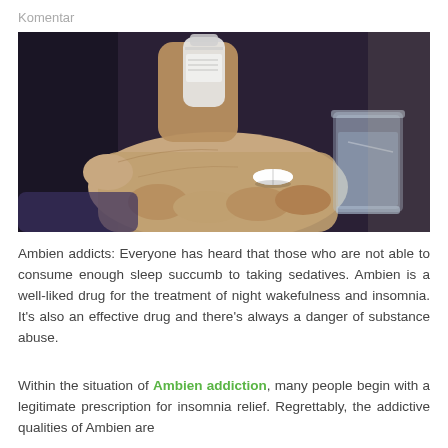Komentar
[Figure (photo): Close-up photo of a person's hand holding a white pill, with another hand holding a pill bottle above it, and a glass of water in the background on a table.]
Ambien addicts: Everyone has heard that those who are not able to consume enough sleep succumb to taking sedatives. Ambien is a well-liked drug for the treatment of night wakefulness and insomnia. It's also an effective drug and there's always a danger of substance abuse.
Within the situation of Ambien addiction, many people begin with a legitimate prescription for insomnia relief. Regrettably, the addictive qualities of Ambien are